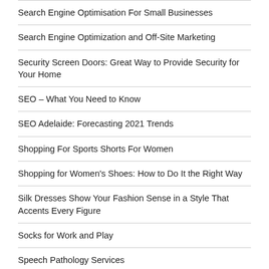Search Engine Optimisation For Small Businesses
Search Engine Optimization and Off-Site Marketing
Security Screen Doors: Great Way to Provide Security for Your Home
SEO – What You Need to Know
SEO Adelaide: Forecasting 2021 Trends
Shopping For Sports Shorts For Women
Shopping for Women's Shoes: How to Do It the Right Way
Silk Dresses Show Your Fashion Sense in a Style That Accents Every Figure
Socks for Work and Play
Speech Pathology Services